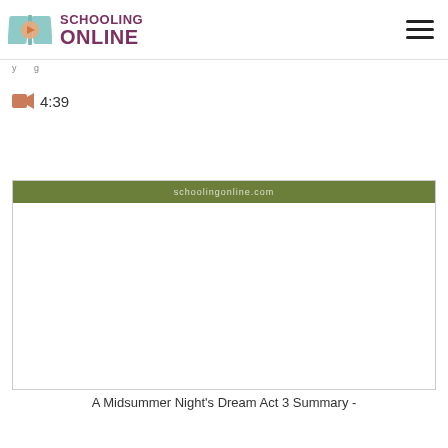Schooling Online
4:39
[Figure (screenshot): Video thumbnail card with olive/green header bar and white content area, showing a schoolingonline.com watermark in the header]
A Midsummer Night's Dream Act 3 Summary -